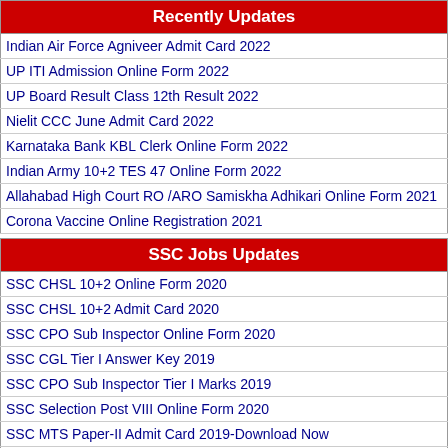Recently Updates
Indian Air Force Agniveer Admit Card 2022
UP ITI Admission Online Form 2022
UP Board Result Class 12th Result 2022
Nielit CCC June Admit Card 2022
Karnataka Bank KBL Clerk Online Form 2022
Indian Army 10+2 TES 47 Online Form 2022
Allahabad High Court RO /ARO Samiskha Adhikari Online Form 2021
Corona Vaccine Online Registration 2021
SSC Jobs Updates
SSC CHSL 10+2 Online Form 2020
SSC CHSL 10+2 Admit Card 2020
SSC CPO Sub Inspector Online Form 2020
SSC CGL Tier I Answer Key 2019
SSC CPO Sub Inspector Tier I Marks 2019
SSC Selection Post VIII Online Form 2020
SSC MTS Paper-II Admit Card 2019-Download Now
View More..
Bank Jobs
Get Android App